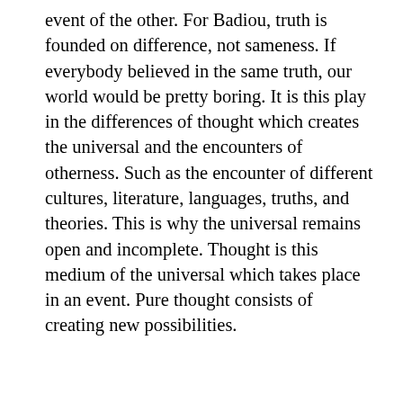event of the other. For Badiou, truth is founded on difference, not sameness. If everybody believed in the same truth, our world would be pretty boring. It is this play in the differences of thought which creates the universal and the encounters of otherness. Such as the encounter of different cultures, literature, languages, truths, and theories. This is why the universal remains open and incomplete. Thought is this medium of the universal which takes place in an event. Pure thought consists of creating new possibilities.